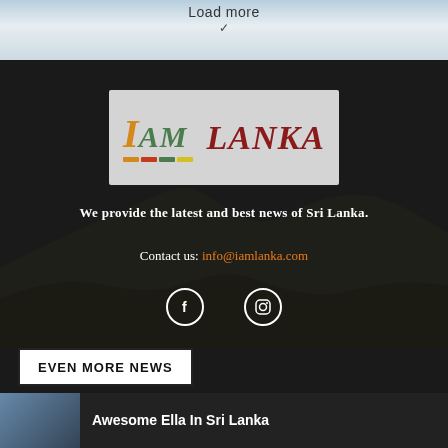Load more
[Figure (logo): IAM LANKA logo on grey background with colorful underline bar]
We provide the latest and best news of Sri Lanka.
Contact us: info@iamlanka.com
[Figure (illustration): Social media icons: Facebook (f) and Instagram in circular outlines]
EVEN MORE NEWS
Awesome Ella In Sri Lanka